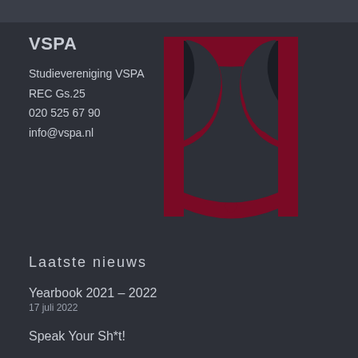VSPA
Studievereniging VSPA
REC Gs.25
020 525 67 90
info@vspa.nl
[Figure (logo): VSPA logo: dark red/maroon abstract psi symbol on dark background]
Laatste nieuws
Yearbook 2021 – 2022
17 juli 2022
Speak Your Sh*t!